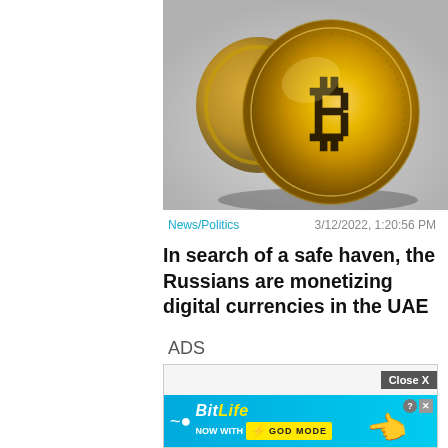[Figure (photo): Close-up photograph of a gold Bitcoin physical coin showing the Bitcoin logo (B symbol) in relief, with another coin blurred in the background, on a light grey surface.]
News/Politics
3/12/2022, 1:20:56 PM
In search of a safe haven, the Russians are monetizing digital currencies in the UAE
ADS
[Figure (screenshot): Advertisement banner for BitLife app — 'NOW WITH GOD MODE' on a cyan/blue background with a hand pointing icon. Has a 'Close X' button and info/close icons.]